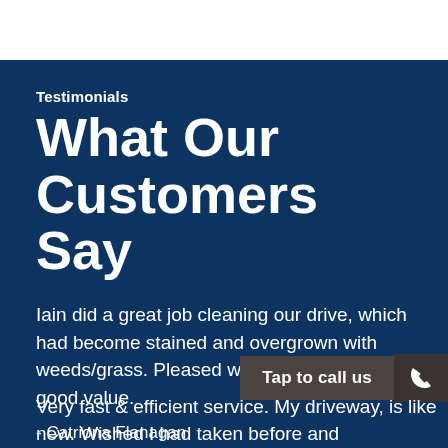Testimonials
What Our Customers Say
Iain did a great job cleaning our drive, which had become stained and overgrown with weeds/grass. Pleased with end result and good value.
- Catriona Flanagan
Very fast & efficient service. My driveway, is like new. Wished I had taken before and